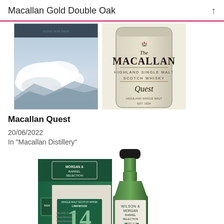Macallan Gold Double Oak
[Figure (photo): Two product images side by side: left shows a whisky box with sky/clouds imagery, right shows The Macallan Quest Highland Single Malt Scotch Whisky bottle in cream/beige cylindrical tin]
Macallan Quest
20/06/2022
In "Macallan Distillery"
[Figure (photo): Wilson & Morgan Barrel Selection 14 year old Linkwood Single Malt Scotch Whisky - green box and bottle with cream label showing number 14, distilled 2007, green wax seal on bottle neck]